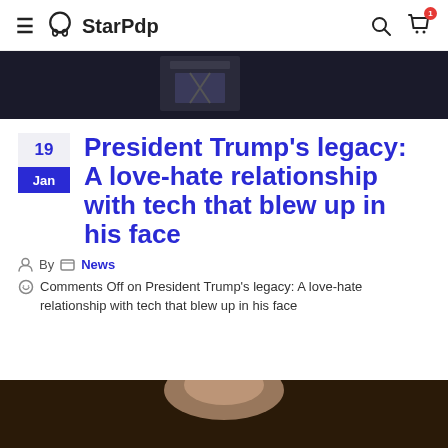StarPdp
[Figure (photo): Dark background photo, partially visible person at podium]
President Trump's legacy: A love-hate relationship with tech that blew up in his face
By News
Comments Off on President Trump's legacy: A love-hate relationship with tech that blew up in his face
[Figure (photo): Partially visible photo at bottom of page]